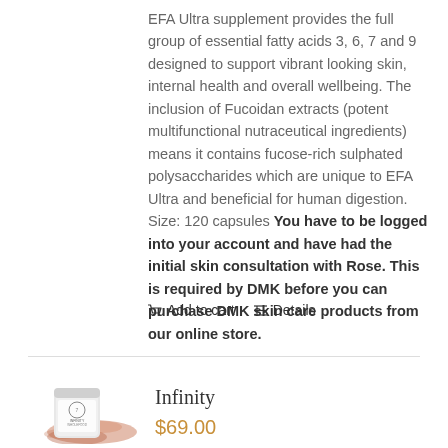EFA Ultra supplement provides the full group of essential fatty acids 3, 6, 7 and 9 designed to support vibrant looking skin, internal health and overall wellbeing. The inclusion of Fucoidan extracts (potent multifunctional nutraceutical ingredients) means it contains fucose-rich sulphated polysaccharides which are unique to EFA Ultra and beneficial for human digestion. Size: 120 capsules You have to be logged into your account and have had the initial skin consultation with Rose. This is required by DMK before you can purchase DMK skin care products from our online store.
Add to cart   Details
[Figure (photo): Product container for Infinity Wholefood supplement with reddish-brown powder scattered around it]
Infinity
$69.00